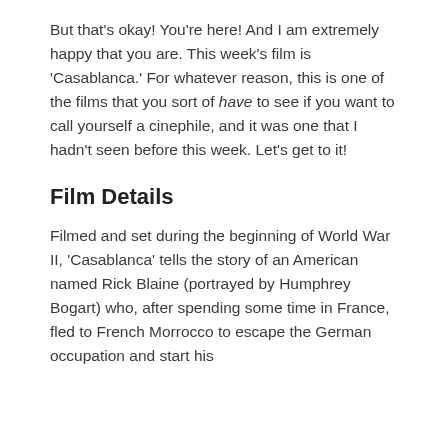But that's okay! You're here! And I am extremely happy that you are. This week's film is 'Casablanca.' For whatever reason, this is one of the films that you sort of have to see if you want to call yourself a cinephile, and it was one that I hadn't seen before this week. Let's get to it!
Film Details
Filmed and set during the beginning of World War II, 'Casablanca' tells the story of an American named Rick Blaine (portrayed by Humphrey Bogart) who, after spending some time in France, fled to French Morrocco to escape the German occupation and start his